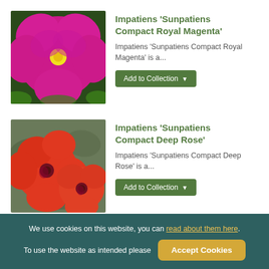[Figure (photo): Close-up photo of a vivid magenta/pink Impatiens Sunpatiens Compact Royal Magenta flower with yellow center]
Impatiens 'Sunpatiens Compact Royal Magenta'
Impatiens 'Sunpatiens Compact Royal Magenta' is a...
[Figure (photo): Photo of orange-red Impatiens Sunpatiens Compact Deep Rose flowers with green foliage]
Impatiens 'Sunpatiens Compact Deep Rose'
Impatiens 'Sunpatiens Compact Deep Rose' is a...
We use cookies on this website, you can read about them here. To use the website as intended please  Accept Cookies